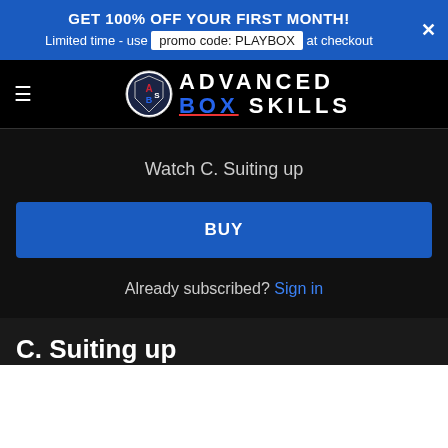GET 100% OFF YOUR FIRST MONTH! Limited time - use promo code: PLAYBOX at checkout
[Figure (logo): Advanced Box Skills logo with circular emblem and bold uppercase text]
Watch C. Suiting up
BUY
Already subscribed? Sign in
C. Suiting up